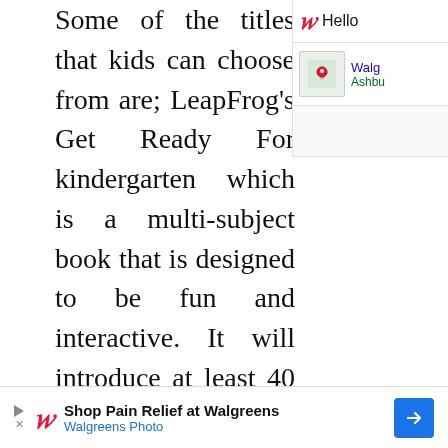Some of the titles that kids can choose from are; LeapFrog's Get Ready For kindergarten which is a multi-subject book that is designed to be fun and interactive. It will introduce at least 40 kindergarten readiness skills that are essential for preschoolers to develop. All illustrations are engaging in art with super fun audio effects.
[Figure (screenshot): Walgreens sidebar advertisement showing Walgreens logo with 'Hello' text and a map thumbnail showing location in Ashburn]
Disney Pixar's Monster University book in 3D (this one sounds exciting already!) wherein Mike and Sully the main characters in the movie will take kids into an adventure to help build their
[Figure (screenshot): Walgreens banner advertisement: Shop Pain Relief at Walgreens - Walgreens Photo]